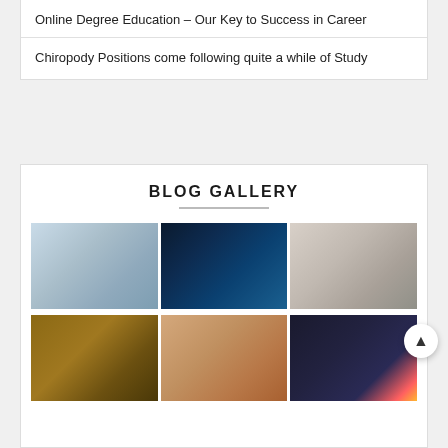Online Degree Education – Our Key to Success in Career
Chiropody Positions come following quite a while of Study
BLOG GALLERY
[Figure (photo): Three photos in first gallery row: business meeting with two people shaking hands, digital globe with network connections, massage therapist working on patient]
[Figure (photo): Three photos in second gallery row: small animal (raccoon/squirrel), chiropody/foot treatment, two smartphones side by side]